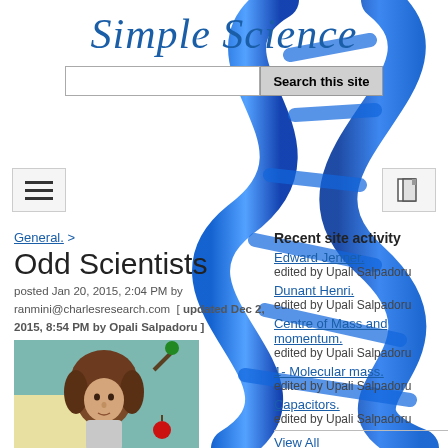Simple Science
[Figure (illustration): Blue 3D DNA double helix spiral overlaid on page background]
[Figure (screenshot): Navigation bar with hamburger menu button on left and icon button on right]
General. >
Odd Scientists
posted Jan 20, 2015, 2:04 PM by ranmini@charlesresearch.com  [ updated Dec 2, 2015, 8:54 PM by Opali Salpadoru ]
[Figure (illustration): Illustration of Isaac Newton with long curly brown hair, teal background with apple tree and red apple]
Recent site activity
Edward Jenner.
edited by Upali Salpadoru
Dunant Henri.
edited by Upali Salpadoru
Centre of Mass and momentum.
edited by Upali Salpadoru
1- Molecular mass.
edited by Upali Salpadoru
Capacitors.
edited by Upali Salpadoru
View All
Navigation